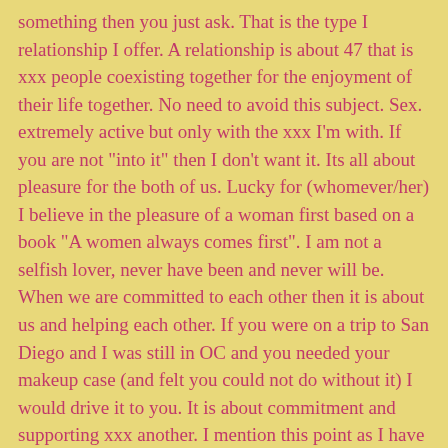something then you just ask. That is the type I relationship I offer. A relationship is about 47 that is xxx people coexisting together for the enjoyment of their life together. No need to avoid this subject. Sex. extremely active but only with the xxx I'm with. If you are not "into it" then I don't want it. Its all about pleasure for the both of us. Lucky for (whomever/her) I believe in the pleasure of a woman first based on a book "A women always comes first". I am not a selfish lover, never have been and never will be. When we are committed to each other then it is about us and helping each other. If you were on a trip to San Diego and I was still in OC and you needed your makeup case (and felt you could not do without it) I would drive it to you. It is about commitment and supporting xxx another. I mention this point as I have made a trip like that before. If you think this is BS that fine just hit the back key. If you think it is too good to be true you have xxx options - see for yourself or hit the back key. If you want to hear more or want to find out for yourself send an e-mail Send a pic, and a sarcastic remark about this post as the subject and a little bit about yourself and we can go from there. Oh... I take care of myself. job